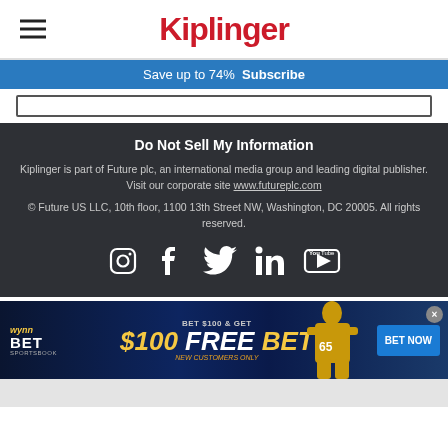Kiplinger
Save up to 74%   Subscribe
Do Not Sell My Information
Kiplinger is part of Future plc, an international media group and leading digital publisher. Visit our corporate site www.futureplc.com
© Future US LLC, 10th floor, 1100 13th Street NW, Washington, DC 20005. All rights reserved.
[Figure (other): Social media icons: Instagram, Facebook, Twitter, LinkedIn, YouTube]
[Figure (other): Advertisement banner: WynnBET Sportsbook - BET $100 & GET $100 FREE BET, NEW CUSTOMERS ONLY, BET NOW button, football player image]